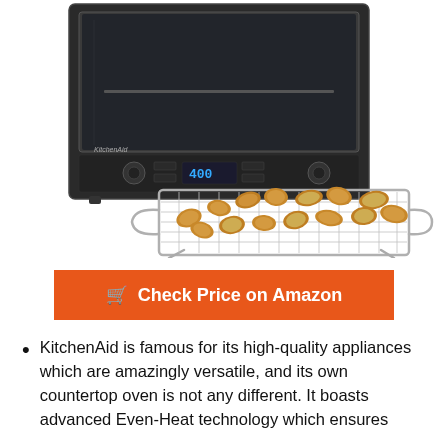[Figure (photo): KitchenAid countertop convection oven in black with digital display showing 400, next to a wire air fry basket holding breaded shrimp, on white background]
Check Price on Amazon
KitchenAid is famous for its high-quality appliances which are amazingly versatile, and its own countertop oven is not any different. It boasts advanced Even-Heat technology which ensures